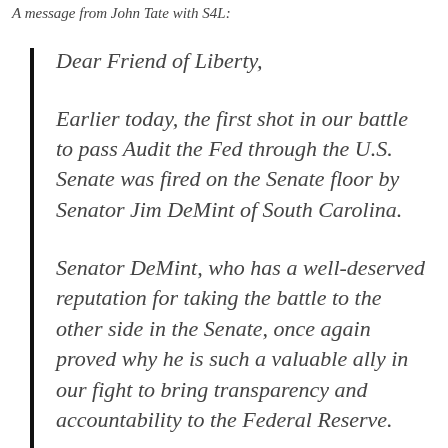A message from John Tate with S4L:
Dear Friend of Liberty,
Earlier today, the first shot in our battle to pass Audit the Fed through the U.S. Senate was fired on the Senate floor by Senator Jim DeMint of South Carolina.
Senator DeMint, who has a well-deserved reputation for taking the battle to the other side in the Senate, once again proved why he is such a valuable ally in our fight to bring transparency and accountability to the Federal Reserve.